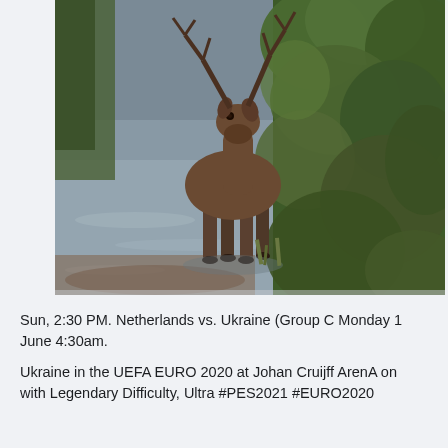[Figure (photo): A moose (elk) standing in a shallow river or lake near a vegetated shoreline. The animal faces the camera with large antlers visible. Dense green trees and shrubs are on the right side. The water reflects muted grey-green tones.]
Sun, 2:30 PM. Netherlands vs. Ukraine (Group C Monday 1 June 4:30am.
Ukraine in the UEFA EURO 2020 at Johan Cruijff ArenA on with Legendary Difficulty, Ultra #PES2021 #EURO2020